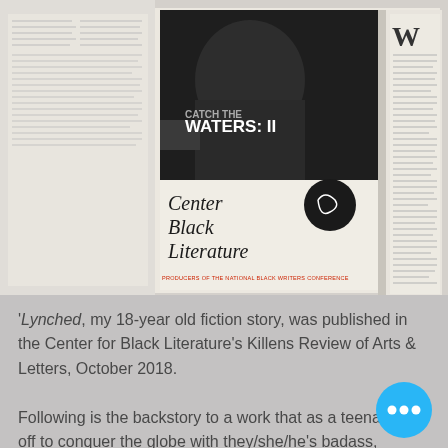[Figure (photo): Composite image showing a book cover for 'Center for Black Literature' with cursive script, a dark photo of a person at top, and 'WATERS: II' text. On the right side, an open magazine spread is partially visible with a large 'W' and columns of text.]
'Lynched, my 18-year old fiction story, was published in the Center for Black Literature's Killens Review of Arts & Letters, October 2018.
Following is the backstory to a work that as a teenager, is off to conquer the globe with they/she/he's badass, unapologetic self.